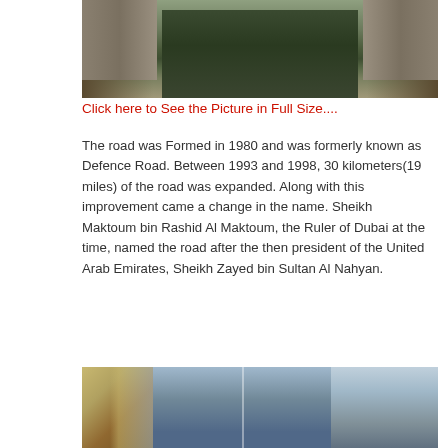[Figure (photo): Aerial view of Sheikh Zayed Road highway in Dubai, showing multi-lane road with green median, tall buildings on both sides, and desert landscape]
Click here to See the Picture in Full Size....
The road was Formed in 1980 and was formerly known as Defence Road. Between 1993 and 1998, 30 kilometers(19 miles) of the road was expanded. Along with this improvement came a change in the name. Sheikh Maktoum bin Rashid Al Maktoum, the Ruler of Dubai at the time, named the road after the then president of the United Arab Emirates, Sheikh Zayed bin Sultan Al Nahyan.
[Figure (photo): Aerial view of Dubai skyscrapers along Sheikh Zayed Road, showing tall modern buildings and cityscape]